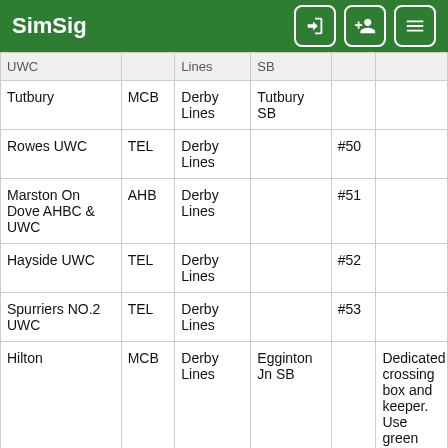SimSig
|  |  | Lines | SB |  |  |
| --- | --- | --- | --- | --- | --- |
| Tutbury | MCB | Derby Lines | Tutbury SB |  |  |
| Rowes UWC | TEL | Derby Lines |  | #50 |  |
| Marston On Dove AHBC & UWC | AHB | Derby Lines |  | #51 |  |
| Hayside UWC | TEL | Derby Lines |  | #52 |  |
| Spurriers NO.2 UWC | TEL | Derby Lines |  | #53 |  |
| Hilton | MCB | Derby Lines | Egginton Jn SB |  | Dedicated crossing box and keeper. Use green slot button to request |